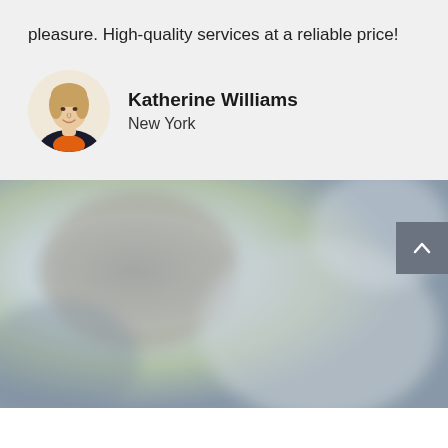pleasure. High-quality services at a reliable price!
Katherine Williams
New York
[Figure (photo): Blurred background image with gray-blue tones, with a scroll-to-top button in the bottom right corner]